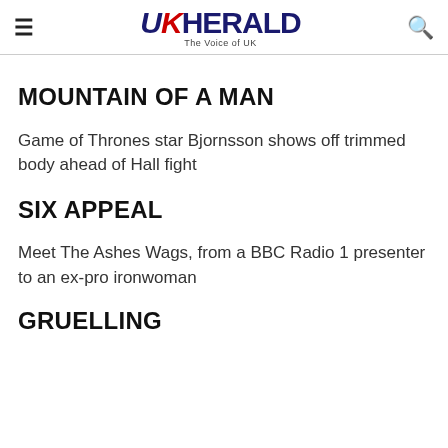UK HERALD - The Voice of UK
MOUNTAIN OF A MAN
Game of Thrones star Bjornsson shows off trimmed body ahead of Hall fight
SIX APPEAL
Meet The Ashes Wags, from a BBC Radio 1 presenter to an ex-pro ironwoman
GRUELLING